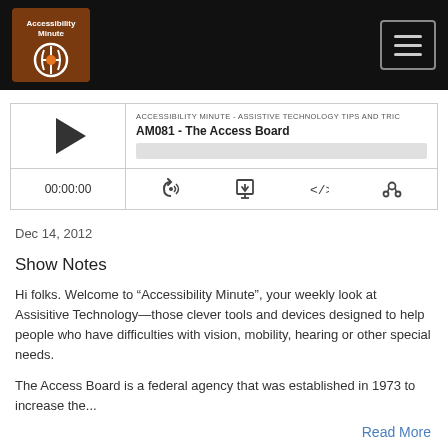Accessibility Minute [logo] — navigation hamburger menu
[Figure (screenshot): Podcast player widget showing episode AM081 - The Access Board with play button, progress bar, time display 00:00:00, and control icons for RSS, download, embed, and share]
Dec 14, 2012
Show Notes
Hi folks. Welcome to “Accessibility Minute”, your weekly look at Assisitive Technology—those clever tools and devices designed to help people who have difficulties with vision, mobility, hearing or other special needs.
The Access Board is a federal agency that was established in 1973 to increase the...
Read More